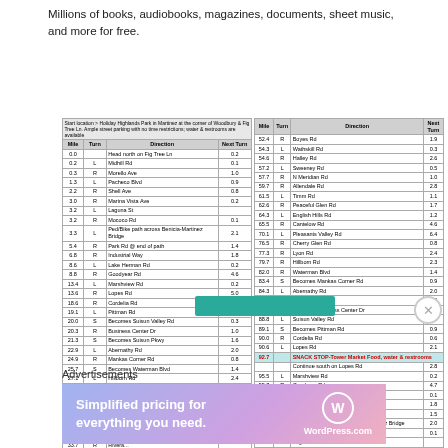Millions of books, audiobooks, magazines, documents, sheet music, and more for free.
| Mile | Turn | Direction | Next Turn |
| --- | --- | --- | --- |
| 0.0 |  | Head north on Fig Tree Ln | 0.2 |
| 0.2 | L | Midhill Rd | 0.1 |
| 0.3 | R | Morello Ave | 1.0 |
| 1.3 | L | Pacheco Blvd | 0.9 |
| 2.2 | R | Shell Ave | 0.8 |
| 3.0 | R | Marina Vista Ave | 0.2 |
| 3.2 | L | Laguna St |  |
| 3.2 | R | Mococo Rd | 0.1 |
| 3.3 | L | Ped/Bike path across Benicia-Martinez Bridge | 2.1 |
| 5.4 | R | Park Rd @ end of path | 1.4 |
| 6.8 | R | Industrial Way | 1.8 |
| 8.6 | L | Lake Herman Rd | 0.2 |
| 8.8 | R | Goodyear Rd | 4.6 |
| 13.4 | L | Marshview Rd | 0.2 |
| 13.6 | R | Lopes Rd | 5.0 |
| 18.6 | R | Cordelia Rd | 0.5 |
| 19.1 | L | Pittman Rd | 0.9 |
| 20.0 | S | Becomes Suisun Valley Rd | 0.3 |
| 20.3 | R | Business Center Dr | 1.0 |
| 21.3 | S | Becomes Suisun Pkwy | 1.6 |
| 22.9 | L | Abernathy Rd | 2.0 |
| 24.9 | R | Mankas Corner Rd | 0.8 |
| 25.7 | S | Becomes Waterman Blvd | 1.4 |
| 27.1 | L | Hillborn Rd | 2.4 |
| 29.5 | L | Lyon Rd | 2.3 |
| 31.8 | L | Cherry Glen Rd | 0.8 |
| 32.6 | S | Cherry Glen Rd | 0.3 |
| 32.9 | S | Becomes Rivera Rd | 0.2 |
| 33.1 | L | Into Peña Adobe Park Water & restrooms |  |
|  | M | Exit Peña Adobe... |  |
| 33.7 | R | Rivera... |  |
| Mile | Turn | Direction | Next Turn |
| --- | --- | --- | --- |
| 52.4 | R | Boyes Rd | 1.9 |
| 54.3 | L | Wathskill Rd | 0.3 |
| 54.6 | R | Halley Rd | 2.6 |
| 57.2 | L | Sweeney Rd | 0.5 |
| 57.7 | R | N Meridian Rd | 1.0 |
| 59.7 | R | Allendale Rd | 2.8 |
| 61.5 | L | Timm Rd | 1.1 |
| 62.6 | R | Peaceful Glen Rd | 1.7 |
| 64.3 | L | English Hills Rd | 1.2 |
| 65.5 | R | Cantelow Rd | 4.6 |
| 70.1 | L | Pleasants Valley Rd | 6.4 |
| 76.5 | R | Cherry Glen Rd | 0.8 |
| 77.3 | R | Lyon Rd | 2.4 |
| 79.7 | R | Hillborn Rd | 2.3 |
| 82.0 | R | Waterman Blvd | 1.4 |
| 83.4 | S | Becomes Mankas Corner Rd | 0.9 |
| 84.3 | L | Abernathy Rd | 2.0 |
| 86.3 | R | Suisun Pkwy | 1.5 |
| 87.9 | S | Becomes Business Center Dr | 1.0 |
| 88.8 | L | Suisun Valley Rd | 0.3 |
| 89.1 | S | Becomes Pittman Rd | 0.9 |
| 90.0 | R | Cordelia Rd | 0.6 |
| 90.6 | L | Lopes Rd | 2.1 |
| 92.7 |  | SNACK STOP-Tower Market Food, water & restrooms |  |
|  |  | Continue south on Lopes Rd | 2.8 |
| 95.5 | L | Marshview Rd | 0.2 |
| 95.7 | R | Goodyear Rd | 4.7 |
| 100.4 | L | Lake Herman Rd | 0.1 |
| 100.5 | R | Industrial Way | 1.8 |
| 102.3 | L | Park Rd | 1.5 |
| 103.8 | L | Ped/Bike path across Benicia-Martinez Bridge | 2.0 |
| 105.8 | R | Mococo Rd @ end of path | 0.1 |
| 105.9 | L | Laguna St |  |
| 105.9 | R | Marina Vista Ave | 0.2 |
| 106.1 | L | Shell Ave | 0.8 |
Advertisements
[Figure (infographic): WordPress.com advertisement banner: 'Simplified pricing for everything you need.']